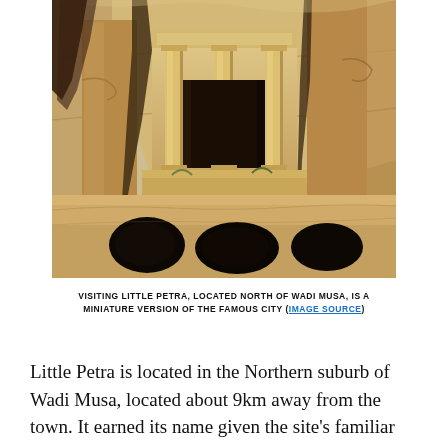[Figure (photo): Photograph of Little Petra rock-cut facades carved into sandstone cliffs. The image shows ancient Nabataean architecture with columns and doorways carved directly into the tan and golden-brown rock face, with cave openings at the base.]
VISITING LITTLE PETRA, LOCATED NORTH OF WADI MUSA, IS A MINIATURE VERSION OF THE FAMOUS CITY (IMAGE SOURCE)
Little Petra is located in the Northern suburb of Wadi Musa, located about 9km away from the town. It earned its name given the site's familiar